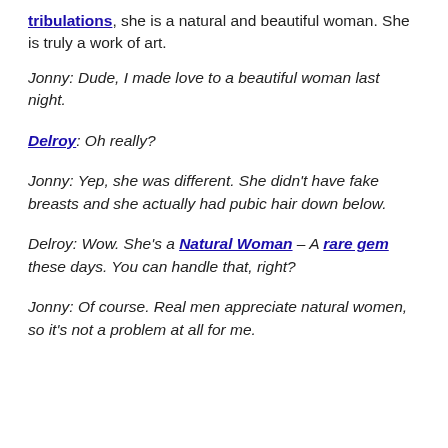tribulations, she is a natural and beautiful woman. She is truly a work of art.
Jonny: Dude, I made love to a beautiful woman last night.
Delroy: Oh really?
Jonny: Yep, she was different. She didn't have fake breasts and she actually had pubic hair down below.
Delroy: Wow. She's a Natural Woman – A rare gem these days. You can handle that, right?
Jonny: Of course. Real men appreciate natural women, so it's not a problem at all for me.